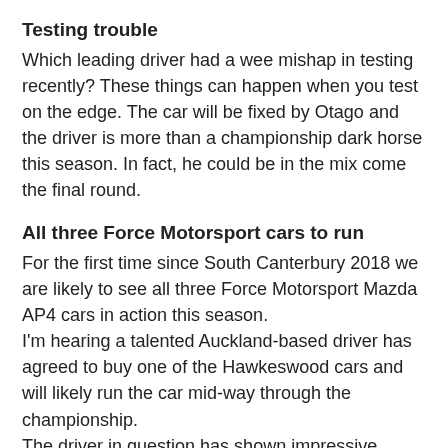Testing trouble
Which leading driver had a wee mishap in testing recently? These things can happen when you test on the edge. The car will be fixed by Otago and the driver is more than a championship dark horse this season. In fact, he could be in the mix come the final round.
All three Force Motorsport cars to run
For the first time since South Canterbury 2018 we are likely to see all three Force Motorsport Mazda AP4 cars in action this season.
I'm hearing a talented Auckland-based driver has agreed to buy one of the Hawkeswood cars and will likely run the car mid-way through the championship.
The driver in question has shown impressive speed in other categories and will be worth keeping an eye on once he makes the step up.
Do you speak English?
Asking for a friend – is it a bacon and egg pie or an egg